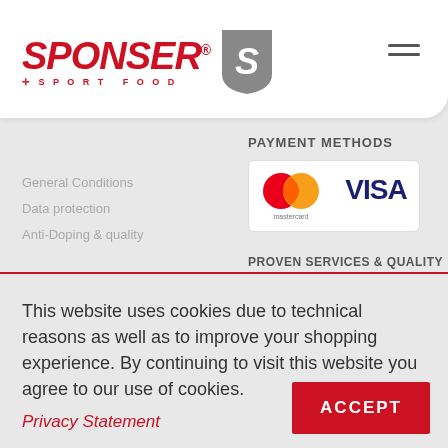SPONSER SPORT FOOD
General Conditions
Data protection
Anti-Doping & quality
PAYMENT METHODS
[Figure (logo): Mastercard and Visa payment method logos side by side]
PROVEN SERVICES & QUALITY
This website uses cookies due to technical reasons as well as to improve your shopping experience. By continuing to visit this website you agree to our use of cookies.
Privacy Statement